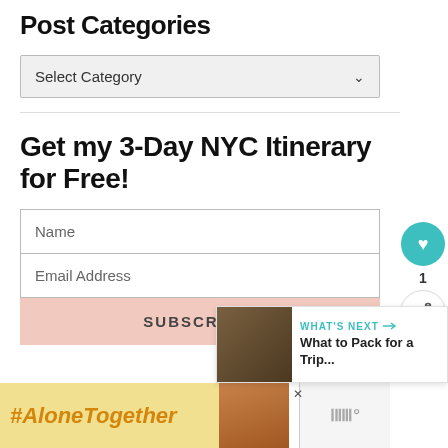Post Categories
Select Category
Get my 3-Day NYC Itinerary for Free!
Name
Email Address
SUBSCRIBE!
[Figure (screenshot): Social share widget with teal heart icon showing count of 1 and a share button below]
[Figure (screenshot): What's Next panel showing link to 'What to Pack for a Trip...' with thumbnail image]
[Figure (infographic): Advertisement banner with yellow background showing '#AloneTogether' hashtag in orange italic text and a photo of a woman, with a logo on the right side]